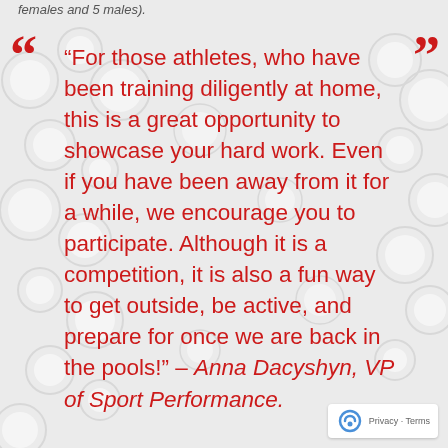females and 5 males).
“For those athletes, who have been training diligently at home, this is a great opportunity to showcase your hard work. Even if you have been away from it for a while, we encourage you to participate. Although it is a competition, it is also a fun way to get outside, be active, and prepare for once we are back in the pools!” – Anna Dacyshyn, VP of Sport Performance.